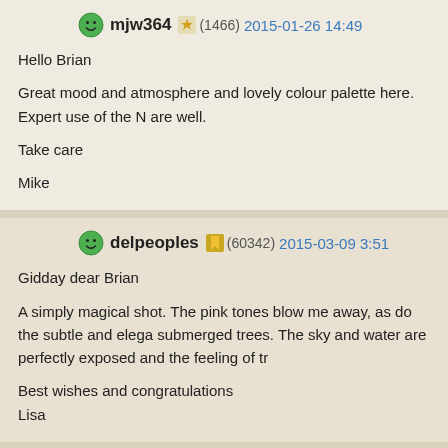mjw364 (1466) 2015-01-26 14:49
Hello Brian
Great mood and atmosphere and lovely colour palette here. Expert use of the N are well.
Take care
Mike
delpeoples (60342) 2015-03-09 3:51
Gidday dear Brian
A simply magical shot. The pink tones blow me away, as do the subtle and elega submerged trees. The sky and water are perfectly exposed and the feeling of tr
Best wishes and congratulations
Lisa
BennyV (34780) 2015-07-14 5:46
Hello Brian
This is my favourite in your series from this location. I like the pink hues and th